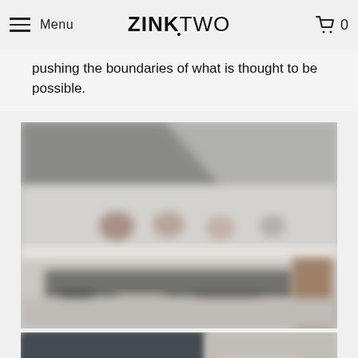Menu | ZINKTWO | 0
pushing the boundaries of what is thought to be possible.
[Figure (photo): Blurred interior showroom or gallery space with display shelves and furniture items arranged along a wall, showing a long horizontal retail or exhibition layout.]
[Figure (photo): Partially visible second image showing what appears to be wood textures or material samples, cropped at the bottom of the page.]